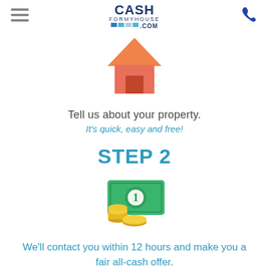CASHFORMYHOUSE.COM
[Figure (illustration): Orange house icon with roof and door]
Tell us about your property.
It's quick, easy and free!
STEP 2
[Figure (illustration): Dollar bill with gold coins icon representing cash offer]
We'll contact you within 12 hours and make you a fair all-cash offer.
STEP 3